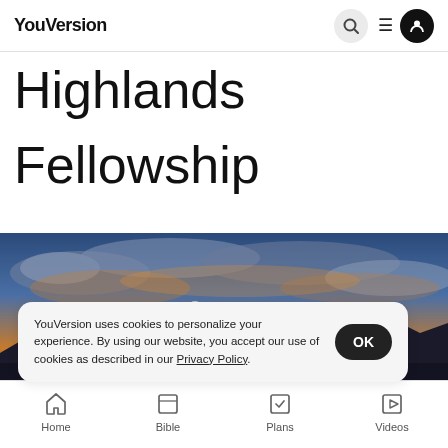YouVersion
Highlands
Fellowship
[Figure (photo): Sunset or sunrise sky with dramatic clouds lit in orange and gold, over a dark mountain silhouette landscape. A cross icon is partially visible in the lower center of the image.]
YouVersion uses cookies to personalize your experience. By using our website, you accept our use of cookies as described in our Privacy Policy.
Home  Bible  Plans  Videos